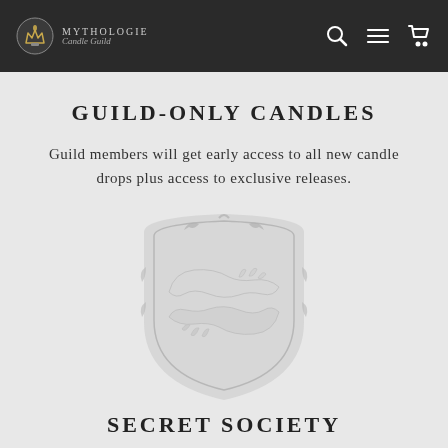MYTHOLOGIE Candle Guild — navigation bar with search, menu, and cart icons
GUILD-ONLY CANDLES
Guild members will get early access to all new candle drops plus access to exclusive releases.
[Figure (illustration): Heraldic shield emblem with two hands in a handshake gesture, rendered in light gray watermark style]
SECRET SOCIETY